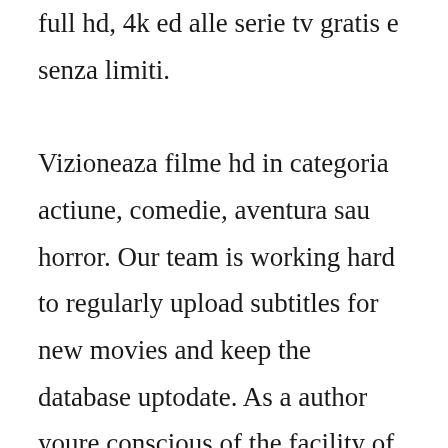full hd, 4k ed alle serie tv gratis e senza limiti. Vizioneaza filme hd in categoria actiune, comedie, aventura sau horror. Our team is working hard to regularly upload subtitles for new movies and keep the database uptodate. As a author youre conscious of the facility of words. Bad words 20 online subtitrat in romana filme online. Paper world is an image film for wwf hungary where the values that wwf stands for become visible metaphorically on the level of a microworld. Bad words 20 online4 subtitrat in romanajason bateman face what bateman says readin in roma bad